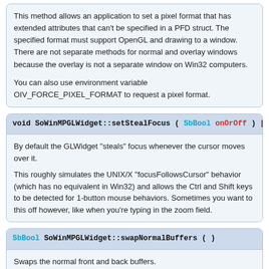This method allows an application to set a pixel format that has extended attributes that can't be specified in a PFD struct. The specified format must support OpenGL and drawing to a window. There are not separate methods for normal and overlay windows because the overlay is not a separate window on Win32 computers.

You can also use environment variable OIV_FORCE_PIXEL_FORMAT to request a pixel format.
void SoWinMPGLWidget::setStealFocus ( SbBool onOrOff ) [inline]
By default the GLWidget "steals" focus whenever the cursor moves over it.

This roughly simulates the UNIX/X "focusFollowsCursor" behavior (which has no equivalent in Win32) and allows the Ctrl and Shift keys to be detected for 1-button mouse behaviors. Sometimes you want to this off however, like when you're typing in the zoom field.
SbBool SoWinMPGLWidget::swapNormalBuffers ( )
Swaps the normal front and back buffers.
SoDEPRECATED SbBool SoWinMPGLWidget::swapOverlayBuffers ( )